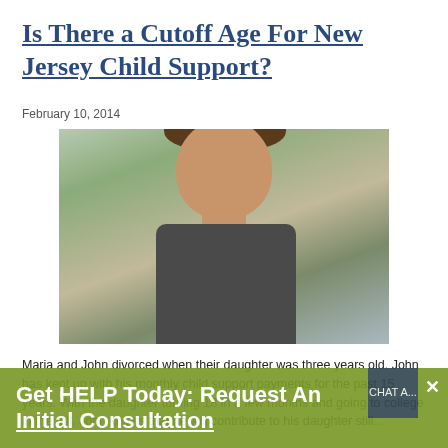Is There a Cutoff Age For New Jersey Child Support?
February 10, 2014
[Figure (photo): Teenage boy looking downward, wearing dark t-shirt, outdoors with blurred background]
Maria and John divorced when their daughter was three years old. John has kept up with his monthly child support payments for the past 15 years. With the daughter turning 18 in a few months and going to college in the fall, John knows that he will contribute to his daughter still...
Get HELP Today: Request An Initial Consultation